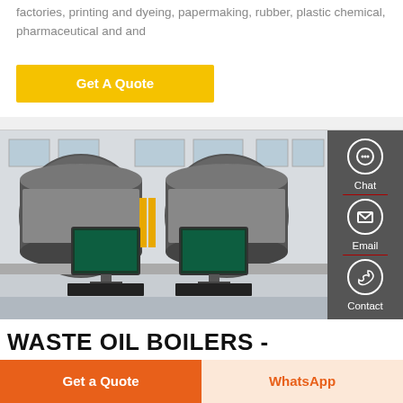factories, printing and dyeing, papermaking, rubber, plastic chemical, pharmaceutical and and
Get A Quote
[Figure (photo): Industrial boiler facility showing two large cylindrical boilers in a factory setting with control computers at the foreground]
WASTE OIL BOILERS -
Get a Quote
WhatsApp